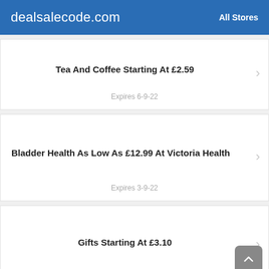dealsalecode.com   All Stores
Tea And Coffee Starting At £2.59
Expires 6-9-22
Bladder Health As Low As £12.99 At Victoria Health
Expires 3-9-22
Gifts Starting At £3.10
Expires 2-9-22